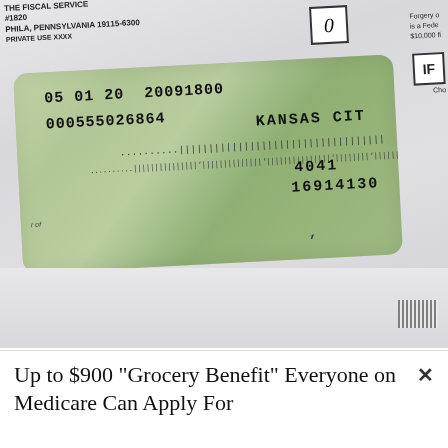[Figure (photo): Photograph of a US Treasury check or government envelope. The envelope shows a window with visible check details including dates, account numbers, barcode/MICR line, and partial text reading 'KANSAS CI' (Kansas City). Top-left shows partial IRS/Treasury return address for Philadelphia, Pennsylvania 19115-6300. Top-right has a box with an italic 'O', a forgery warning text, and an 'IF' checkbox. The window shows numbers: 05 01 20 20091800, 000555026864, KANSAS CI, 4041, 16914130.]
Up to $900 "Grocery Benefit" Everyone on Medicare Can Apply For